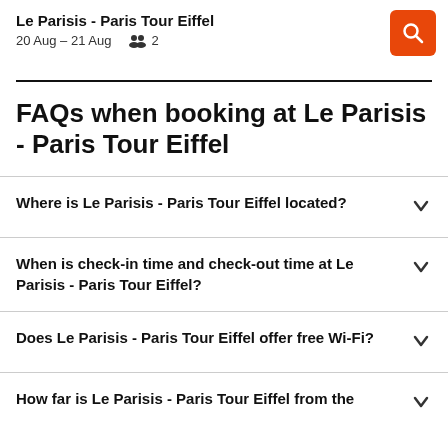Le Parisis - Paris Tour Eiffel
20 Aug – 21 Aug  2
FAQs when booking at Le Parisis - Paris Tour Eiffel
Where is Le Parisis - Paris Tour Eiffel located?
When is check-in time and check-out time at Le Parisis - Paris Tour Eiffel?
Does Le Parisis - Paris Tour Eiffel offer free Wi-Fi?
How far is Le Parisis - Paris Tour Eiffel from the airport?